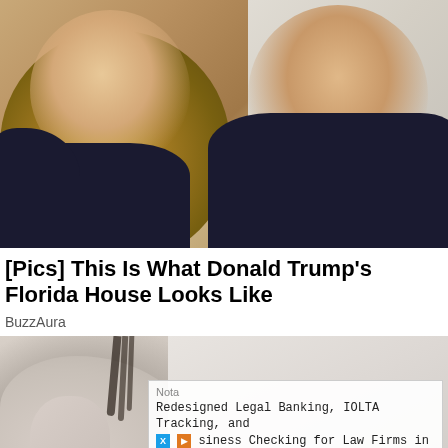[Figure (photo): Photo of a woman with long blonde hair and a man in a dark suit with a red tie, posed together against a light background.]
[Pics] This Is What Donald Trump's Florida House Looks Like
BuzzAura
[Figure (photo): Partial photo of a woman in a light pink/beige top, with dark hair, in a bright room.]
Nota
Redesigned Legal Banking, IOLTA Tracking, and Business Checking for Law Firms in One Place